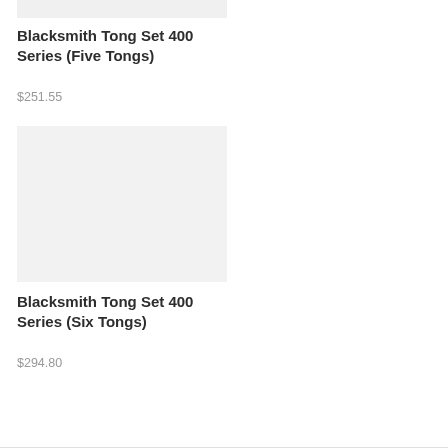[Figure (photo): Product image placeholder for Blacksmith Tong Set 400 Series (Five Tongs) - light gray rectangle]
Blacksmith Tong Set 400 Series (Five Tongs)
$251.55
[Figure (photo): Product image placeholder for Blacksmith Tong Set 400 Series (Six Tongs) - light gray rectangle]
Blacksmith Tong Set 400 Series (Six Tongs)
$294.80